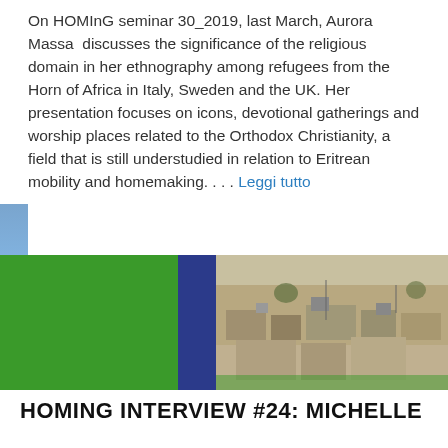On HOMInG seminar 30_2019, last March, Aurora Massa  discusses the significance of the religious domain in her ethnography among refugees from the Horn of Africa in Italy, Sweden and the UK. Her presentation focuses on icons, devotional gatherings and worship places related to the Orthodox Christianity, a field that is still understudied in relation to Eritrean mobility and homemaking. . . . Leggi tutto
[Figure (photo): Composite image: large green block on the left, dark blue decorative panel in the middle, aerial/rooftop photograph of a Middle Eastern or African city on the right, with green decorative strips on edges.]
HOMING INTERVIEW #24: MICHELLE